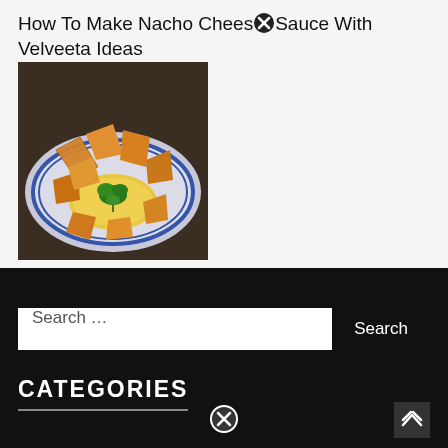How To Make Nacho Cheese Sauce With Velveeta Ideas
[Figure (photo): A plate of tortilla chips arranged around a bowl of nacho cheese sauce garnished with a sprig of parsley, on a blue and white plate]
Search …
CATEGORIES